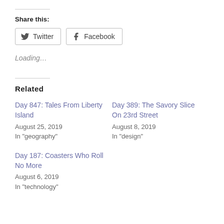Share this:
Twitter  Facebook
Loading...
Related
Day 847: Tales From Liberty Island
August 25, 2019
In "geography"
Day 389: The Savory Slice On 23rd Street
August 8, 2019
In "design"
Day 187: Coasters Who Roll No More
August 6, 2019
In "technology"